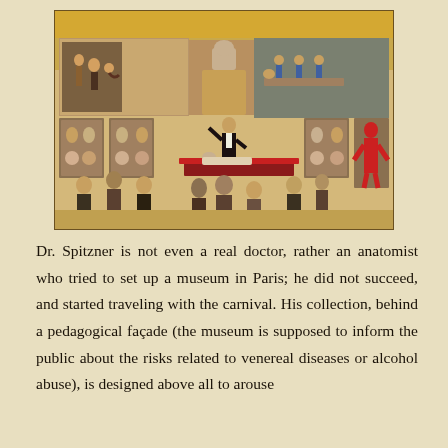[Figure (illustration): A painting depicting Dr. Spitzner's anatomical museum exhibit. A man in a tuxedo stands at a table with a reclining figure, surrounded by display cases with anatomical models. Observers in period dress view the exhibits. Upper panels show additional scenes including soldiers. A red anatomical figure is visible on the right side.]
Dr. Spitzner is not even a real doctor, rather an anatomist who tried to set up a museum in Paris; he did not succeed, and started traveling with the carnival. His collection, behind a pedagogical façade (the museum is supposed to inform the public about the risks related to venereal diseases or alcohol abuse), is designed above all to arouse